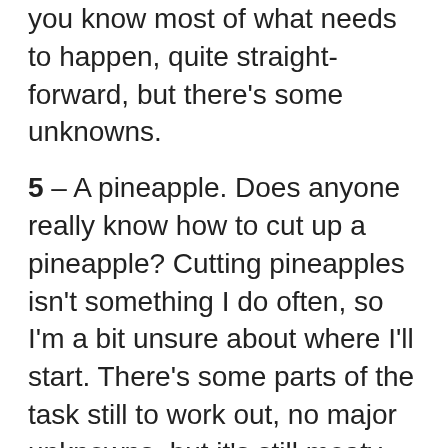you know most of what needs to happen, quite straight-forward, but there's some unknowns.
5 – A pineapple. Does anyone really know how to cut up a pineapple? Cutting pineapples isn't something I do often, so I'm a bit unsure about where I'll start. There's some parts of the task still to work out, no major unknowns, but it's still meaty work.
8 – A watermelon. OK, now this is a real wild card. Do I have to have a machete to cut one open? What about the seeds? Do they just get left in? There's lots to work out.